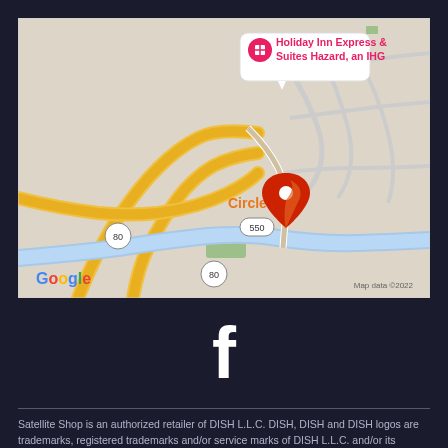[Figure (map): Google Maps screenshot showing area around Circle T, Hazard Kentucky. A red location pin marks a spot labeled Circle T. A pink hotel marker shows Holiday Inn Express & Suites Hazard, an IHG in the upper left. Road 80 and road 550 are visible. A river runs through the center. Map data ©2022.]
[Figure (logo): Facebook logo icon — white lowercase f on dark background]
Satellite Shop is an authorized retailer of DISH L.L.C. DISH, DISH and DISH logos are trademarks, registered trademarks and/or service marks of DISH L.L.C. and/or its affiliate(s). The DISH trademarks, registered trademarks and/or service marks are used under license of DISH L.L.C. and/or its affiliate(s).